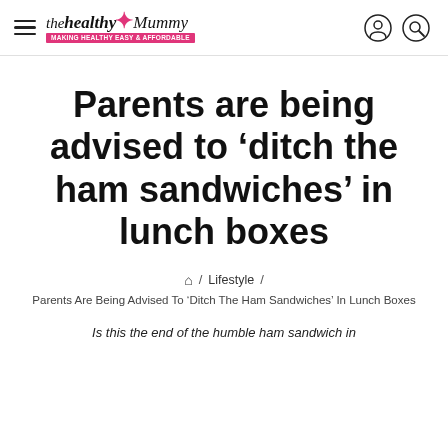the healthy Mummy — Making healthy EASY & AFFORDABLE
Parents are being advised to ‘ditch the ham sandwiches’ in lunch boxes
⌂ / Lifestyle / Parents Are Being Advised To ‘Ditch The Ham Sandwiches’ In Lunch Boxes
Is this the end of the humble ham sandwich in